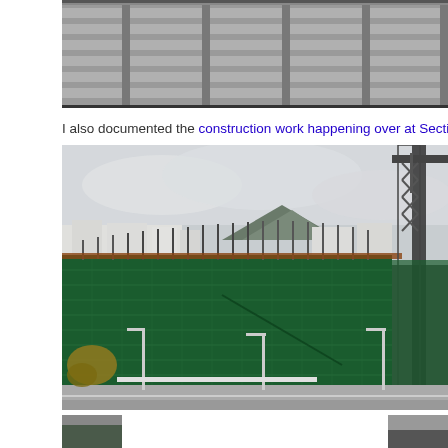[Figure (photo): Top portion of a multi-storey car park building with horizontal concrete slats and structural columns, grey tones.]
I also documented the construction work happening over at Section 84 in Civic.
[Figure (photo): Construction site showing a building under construction with green safety mesh/netting wrapped around scaffolding, a tall crane visible on the right side, city buildings and hills in the background, street with light poles in the foreground.]
[Figure (photo): Small thumbnail photo on the bottom left, partially visible.]
[Figure (photo): Small thumbnail photo on the bottom right, partially visible.]